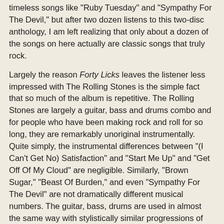timeless songs like "Ruby Tuesday" and "Sympathy For The Devil," but after two dozen listens to this two-disc anthology, I am left realizing that only about a dozen of the songs on here actually are classic songs that truly rock.
Largely the reason Forty Licks leaves the listener less impressed with The Rolling Stones is the simple fact that so much of the album is repetitive. The Rolling Stones are largely a guitar, bass and drums combo and for people who have been making rock and roll for so long, they are remarkably unoriginal instrumentally. Quite simply, the instrumental differences between "(I Can't Get No) Satisfaction" and "Start Me Up" and "Get Off Of My Cloud" are negligible. Similarly, "Brown Sugar," "Beast Of Burden," and even "Sympathy For The Devil" are not dramatically different musical numbers. The guitar, bass, drums are used in almost the same way with stylistically similar progressions of the songs. As a result, the band creates a lot of songs that have little instrumental variation to them.
Appropriately, the Rolling Stones try some new things on some of the newer songs like "Anybody Seen My Baby?"